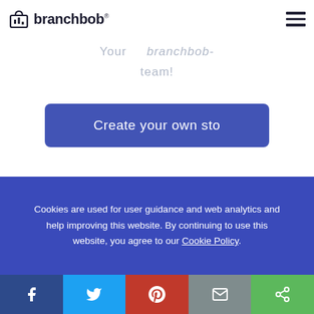branchbob
of this Christmas shopping season.
Your branchbob-team!
Create your own sto
back   next
Cookies are used for user guidance and web analytics and help improving this website. By continuing to use this website, you agree to our Cookie Policy.